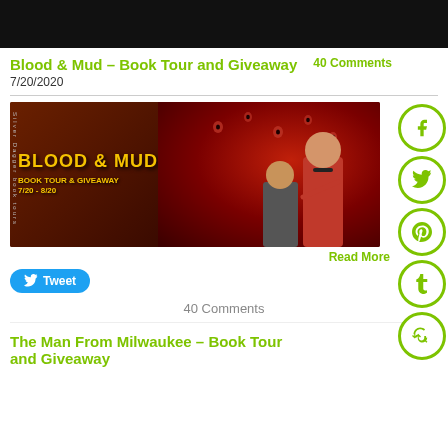[Figure (illustration): Black decorative header bar at top of page]
Blood & Mud – Book Tour and Giveaway
40 Comments
7/20/2020
[Figure (illustration): Book tour banner image for Blood & Mud showing title in yellow text on dark red/brown background with illustrated characters. Text reads: Blood & Mud, Book Tour & Giveaway, 7/20 - 8/20]
[Figure (illustration): Social media share buttons: Facebook, Twitter, Pinterest, Tumblr, StumbleUpon — circular green icon buttons on right side]
Read More
Tweet
40 Comments
The Man From Milwaukee – Book Tour and Giveaway